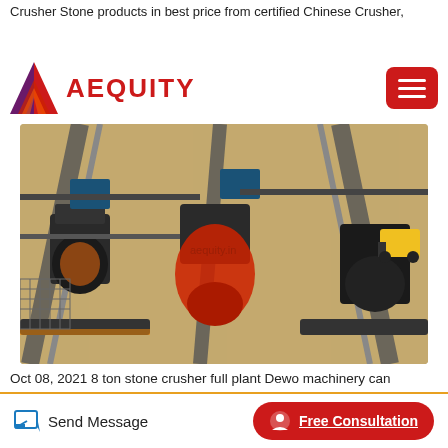Crusher Stone products in best price from certified Chinese Crusher,
[Figure (logo): AEQUITY logo with red diamond/arrow shape and red text]
[Figure (photo): Aerial view of a stone crusher full plant facility showing conveyor belts, crushers, and open industrial yard]
Oct 08, 2021 8 ton stone crusher full plant Dewo machinery can
Send Message
Free Consultation